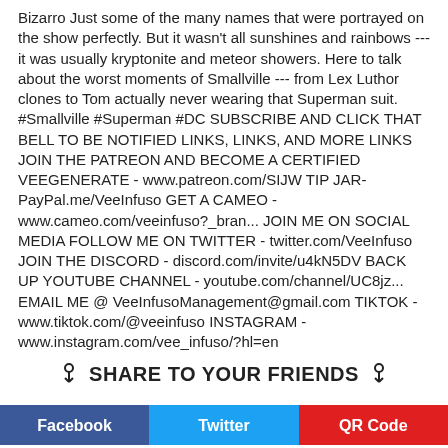Bizarro Just some of the many names that were portrayed on the show perfectly. But it wasn't all sunshines and rainbows --- it was usually kryptonite and meteor showers. Here to talk about the worst moments of Smallville --- from Lex Luthor clones to Tom actually never wearing that Superman suit. #Smallville #Superman #DC SUBSCRIBE AND CLICK THAT BELL TO BE NOTIFIED LINKS, LINKS, AND MORE LINKS JOIN THE PATREON AND BECOME A CERTIFIED VEEGENERATE - www.patreon.com/SIJW TIP JAR- PayPal.me/VeeInfuso GET A CAMEO - www.cameo.com/veeinfuso?_bran... JOIN ME ON SOCIAL MEDIA FOLLOW ME ON TWITTER - twitter.com/VeeInfuso JOIN THE DISCORD - discord.com/invite/u4kN5DV BACK UP YOUTUBE CHANNEL - youtube.com/channel/UC8jz... EMAIL ME @ VeeInfusoManagement@gmail.com TIKTOK - www.tiktok.com/@veeinfuso INSTAGRAM - www.instagram.com/vee_infuso/?hl=en
☞ SHARE TO YOUR FRIENDS ☜
Facebook | Twitter | QR Code